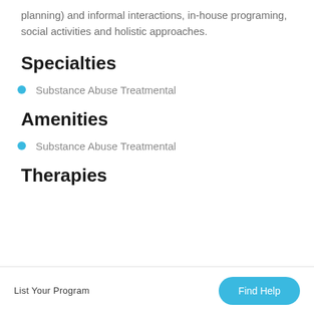planning) and informal interactions, in-house programing, social activities and holistic approaches.
Specialties
Substance Abuse Treatmental
Amenities
Substance Abuse Treatmental
Therapies
List Your Program   Find Help